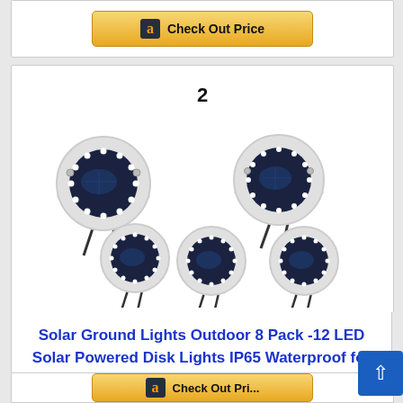[Figure (other): Partial Amazon 'Check Out Price' button at top of page]
2
[Figure (photo): Photo of 6 solar ground disk lights arranged in a 2x3 grid pattern, white circular lights with LED ring and solar panel, with ground stakes]
Solar Ground Lights Outdoor 8 Pack -12 LED Solar Powered Disk Lights IP65 Waterproof for Landscape...
[Figure (other): Partial Amazon 'Check Out Price' button at bottom of page]